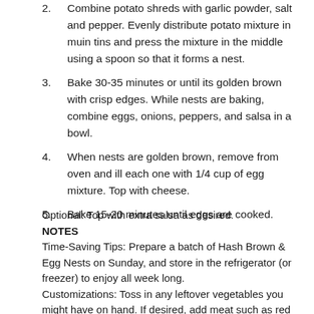2. Combine potato shreds with garlic powder, salt and pepper. Evenly distribute potato mixture in muin tins and press the mixture in the middle using a spoon so that it forms a nest.
3. Bake 30-35 minutes or until its golden brown with crisp edges. While nests are baking, combine eggs, onions, peppers, and salsa in a bowl.
4. When nests are golden brown, remove from oven and ill each one with 1/4 cup of egg mixture. Top with cheese.
5. Bake 15-20 minutes until eggs are cooked.
Optional: Top with extra salsa as desired.
NOTES
Time-Saving Tips: Prepare a batch of Hash Brown & Egg Nests on Sunday, and store in the refrigerator (or freezer) to enjoy all week long.
Customizations: Toss in any leftover vegetables you might have on hand. If desired, add meat such as red chopped turkey bacon, ham, or turkey sausage.